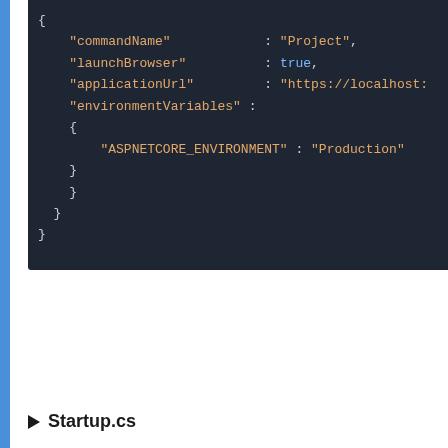[Figure (screenshot): Code editor screenshot showing JSON configuration with keys commandName, launchBrowser, applicationUrl, environmentVariables, and ASPNETCORE_ENVIRONMENT set to Production]
Startup.cs